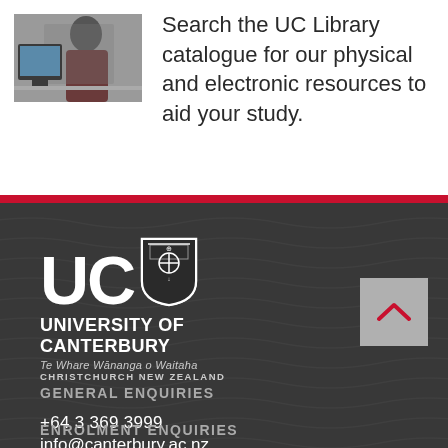[Figure (photo): Person working at a computer, viewed from side]
Search the UC Library catalogue for our physical and electronic resources to aid your study.
[Figure (logo): University of Canterbury logo with shield, text 'UC UNIVERSITY OF CANTERBURY Te Whare Wānanga o Waitaha CHRISTCHURCH NEW ZEALAND']
GENERAL ENQUIRIES
+64 3 369 3999
info@canterbury.ac.nz
ENROLMENT ENQUIRIES